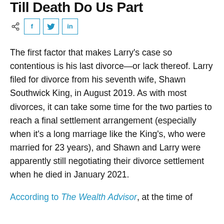Till Death Do Us Part
[Figure (other): Social share icons: share, Facebook (f), Twitter (bird), LinkedIn (in)]
The first factor that makes Larry's case so contentious is his last divorce—or lack thereof. Larry filed for divorce from his seventh wife, Shawn Southwick King, in August 2019. As with most divorces, it can take some time for the two parties to reach a final settlement arrangement (especially when it's a long marriage like the King's, who were married for 23 years), and Shawn and Larry were apparently still negotiating their divorce settlement when he died in January 2021.
According to The Wealth Advisor, at the time of